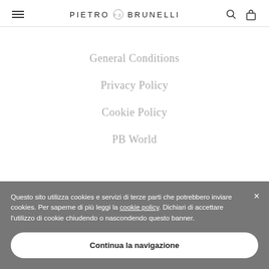PIETRO BRUNELLI
General Conditions
Privacy Policy
Cookie Policy
PB World
Questo sito utilizza cookies e servizi di terze parti che potrebbero inviare cookies. Per saperne di più leggi la cookie policy. Dichiari di accettare l'utilizzo di cookie chiudendo o nascondendo questo banner.
Continua la navigazione